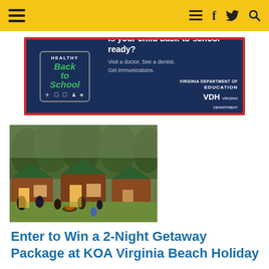Navigation bar with hamburger menu, list icon, Facebook, Twitter, and search icons
[Figure (infographic): Healthy Back to School advertisement banner. Dark navy blue background with red border. Left side shows 'HEALTHY Back to School' badge in green italic text with small icons. Right side reads 'Is your child back-to-school ready? Visit a doctor. See a dentist. Get immunizations.' with Virginia Department of Education and VDH logos.]
[Figure (photo): Outdoor photo of KOA camping cabins. Wooden cabins with green roofs surrounded by trees. Families and people gathered outside around a fire pit on a grassy area in the evening.]
Enter to Win a 2-Night Getaway Package at KOA Virginia Beach Holiday